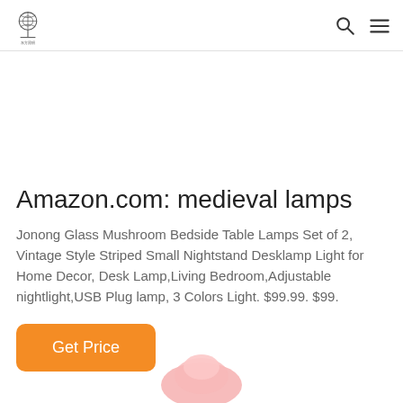Logo and navigation icons (search, menu)
Amazon.com: medieval lamps
Jonong Glass Mushroom Bedside Table Lamps Set of 2, Vintage Style Striped Small Nightstand Desklamp Light for Home Decor, Desk Lamp,Living Bedroom,Adjustable nightlight,USB Plug lamp, 3 Colors Light. $99.99. $99.
Get Price
[Figure (photo): Partial view of a pink/red mushroom glass lamp product at the bottom of the page]